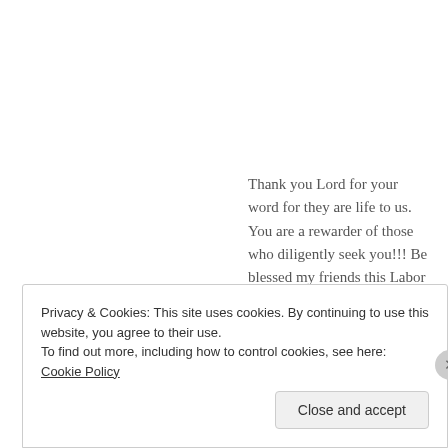Thank you Lord for your word for they are life to us. You are a rewarder of those who diligently seek you!!! Be blessed my friends this Labor Day!!
Privacy & Cookies: This site uses cookies. By continuing to use this website, you agree to their use.
To find out more, including how to control cookies, see here: Cookie Policy
Close and accept